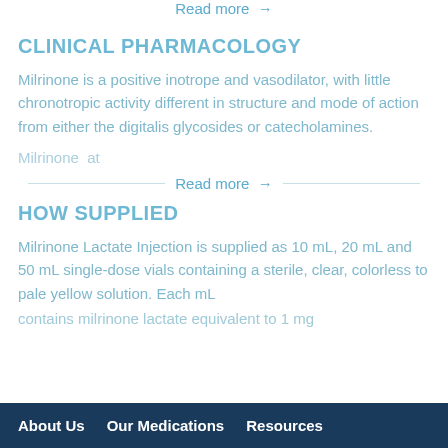Read more →
CLINICAL PHARMACOLOGY
Milrinone is a positive inotrope and vasodilator, with little chronotropic activity different in structure and mode of action from either the digitalis glycosides or catecholamines.
Milrinone at
Read more →
HOW SUPPLIED
Milrinone Lactate Injection is supplied as 10 mL, 20 mL and 50 mL single-dose vials containing a sterile, clear, colorless to pale yellow solution. Each mL
About Us   Our Medications   Resources